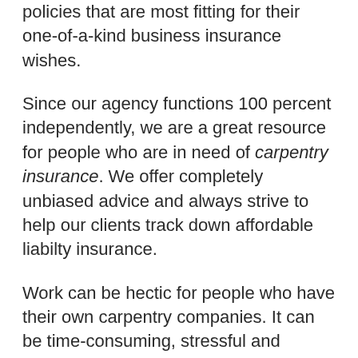policies that are most fitting for their one-of-a-kind business insurance wishes.
Since our agency functions 100 percent independently, we are a great resource for people who are in need of carpentry insurance. We offer completely unbiased advice and always strive to help our clients track down affordable liabilty insurance.
Work can be hectic for people who have their own carpentry companies. It can be time-consuming, stressful and complex as well. If you are looking for peace of mind while on the job, the best move you can make is to purchase carpenter liability insurance.
People who want to learn the ins and outs of carpenter insurance can always turn to our